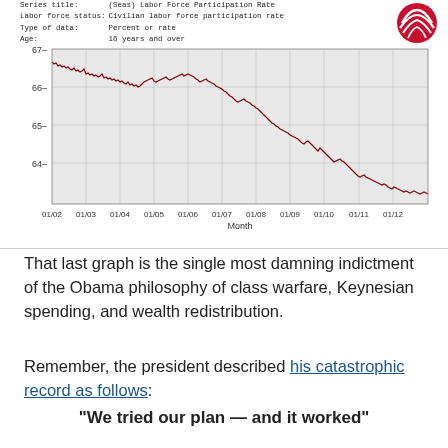[Figure (continuous-plot): Line chart showing Civilian Labor Force Participation Rate (seasonally adjusted) from 01/02 to 01/12. Y-axis ranges from approximately 63.5 to 67.5 percent. The line starts near 66.8 in early 2002, remains relatively stable around 66-66.5 until about 2006-2007, then declines sharply from 2008 onward, reaching approximately 63.6-63.7 by late 2012.]
That last graph is the single most damning indictment of the Obama philosophy of class warfare, Keynesian spending, and wealth redistribution.
Remember, the president described his catastrophic record as follows:
"We tried our plan — and it worked"